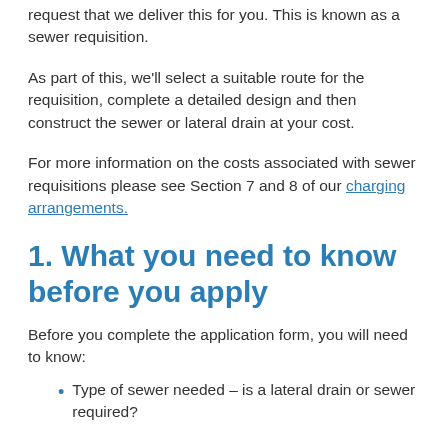request that we deliver this for you. This is known as a sewer requisition.
As part of this, we'll select a suitable route for the requisition, complete a detailed design and then construct the sewer or lateral drain at your cost.
For more information on the costs associated with sewer requisitions please see Section 7 and 8 of our charging arrangements.
1. What you need to know before you apply
Before you complete the application form, you will need to know:
Type of sewer needed – is a lateral drain or sewer required?